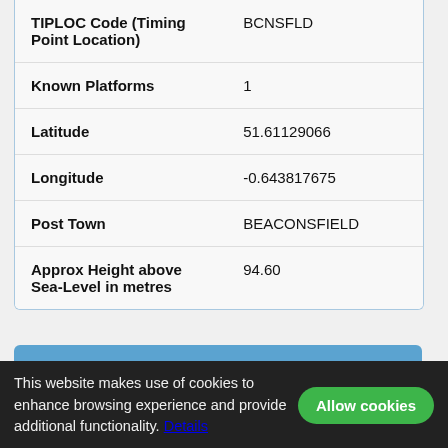| Field | Value |
| --- | --- |
| TIPLOC Code (Timing Point Location) | BCNSFLD |
| Known Platforms | 1 |
| Latitude | 51.61129066 |
| Longitude | -0.643817675 |
| Post Town | BEACONSFIELD |
| Approx Height above Sea-Level in metres | 94.60 |
Address for Beaconsfield Station
Penn Road
This website makes use of cookies to enhance browsing experience and provide additional functionality. Details